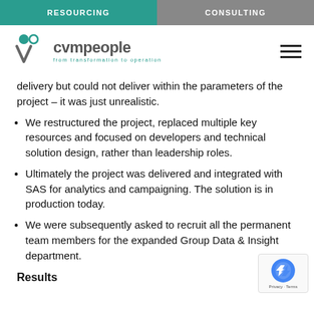RESOURCING  CONSULTING
[Figure (logo): cvmpeople logo with tagline 'from transformation to operation' and hamburger menu icon]
delivery but could not deliver within the parameters of the project – it was just unrealistic.
We restructured the project, replaced multiple key resources and focused on developers and technical solution design, rather than leadership roles.
Ultimately the project was delivered and integrated with SAS for analytics and campaigning. The solution is in production today.
We were subsequently asked to recruit all the permanent team members for the expanded Group Data & Insight department.
Results